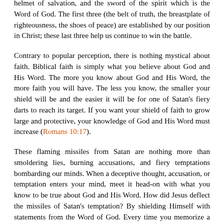helmet of salvation, and the sword of the spirit which is the Word of God. The first three (the belt of truth, the breastplate of righteousness, the shoes of peace) are established by our position in Christ; these last three help us continue to win the battle.
Contrary to popular perception, there is nothing mystical about faith. Biblical faith is simply what you believe about God and His Word. The more you know about God and His Word, the more faith you will have. The less you know, the smaller your shield will be and the easier it will be for one of Satan's fiery darts to reach its target. If you want your shield of faith to grow large and protective, your knowledge of God and His Word must increase (Romans 10:17).
These flaming missiles from Satan are nothing more than smoldering lies, burning accusations, and fiery temptations bombarding our minds. When a deceptive thought, accusation, or temptation enters your mind, meet it head-on with what you know to be true about God and His Word. How did Jesus deflect the missiles of Satan's temptation? By shielding Himself with statements from the Word of God. Every time you memorize a Bible verse, listen to a sermon, or participate in a Bible study, you increase your knowledge of God and enlarge your shield of faith.
We all struggle with tempting and accusing thoughts. If you are a healthy and mature Christian, they will bounce right off your shield of faith.